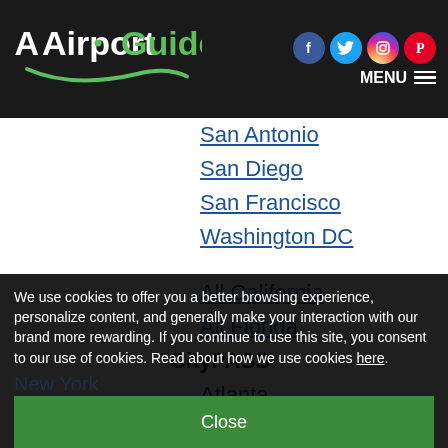[Figure (logo): AirportGuide logo with white 'Airport' text and green 'Guide' text, green swoosh graphic underneath, on dark background]
Social icons: Facebook, Twitter, Instagram, Pinterest | MENU with hamburger icon
San Antonio
San Diego
San Francisco
Washington DC
All California
All Florida
CityPASS
Atlanta
Boston (partially visible)
New York (partially visible)
We use cookies to offer you a better browsing experience, personalize content, and generally make your interaction with our brand more rewarding. If you continue to use this site, you consent to our use of cookies. Read about how we use cookies here.
Close